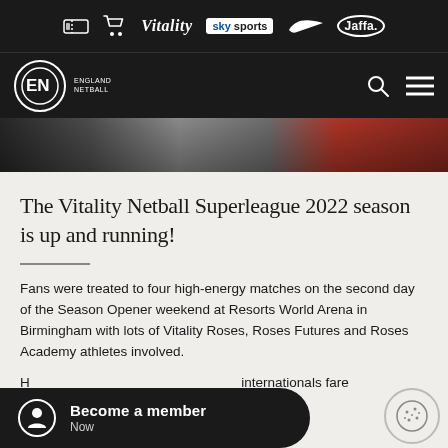[Figure (logo): Sponsor bar with ticket icon, cart icon, Vitality logo, sky sports logo, Nike swoosh, and Jaffa logo on dark background]
[Figure (logo): England Netball navigation bar with EN circular logo, search icon, and hamburger menu on dark background]
[Figure (photo): Partial hero image showing netball players, cropped]
The Vitality Netball Superleague 2022 season is up and running!
Fans were treated to four high-energy matches on the second day of the Season Opener weekend at Resorts World Arena in Birmingham with lots of Vitality Roses, Roses Futures and Roses Academy athletes involved.
H... internationals fare
[Figure (infographic): Become a member CTA banner with person icon, bold text 'Become a member' and 'Now' on dark rounded rectangle]
[Figure (other): Cookie consent icon — circular icon with cookie illustration]